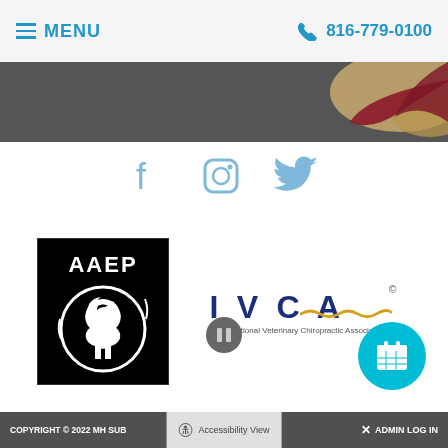MENU  816-779-0100
[Figure (logo): Social media icons: Facebook, Instagram, Twitter in light blue on dark gray background]
[Figure (logo): AAEP logo - black and white horse in circular design with AAEP text]
[Figure (logo): IVCA International Veterinary Chiropractic Association logo on white background]
COPYRIGHT © 2022 MH SUB  Accessibility View  ADMIN LOG IN